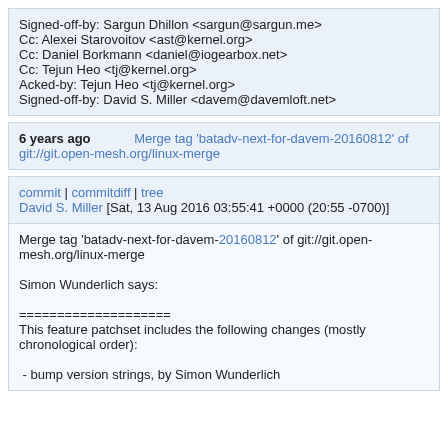Signed-off-by: Sargun Dhillon <sargun@sargun.me>
Cc: Alexei Starovoitov <ast@kernel.org>
Cc: Daniel Borkmann <daniel@iogearbox.net>
Cc: Tejun Heo <tj@kernel.org>
Acked-by: Tejun Heo <tj@kernel.org>
Signed-off-by: David S. Miller <davem@davemloft.net>
6 years ago
Merge tag 'batadv-next-for-davem-20160812' of git://git.open-mesh.org/linux-merge
commit | commitdiff | tree
David S. Miller [Sat, 13 Aug 2016 03:55:41 +0000 (20:55 -0700)]
Merge tag 'batadv-next-for-davem-20160812' of git://git.open-mesh.org/linux-merge

Simon Wunderlich says:

====================
This feature patchset includes the following changes (mostly chronological order):

 - bump version strings, by Simon Wunderlich